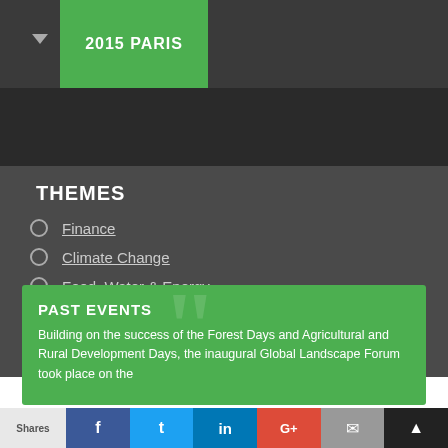2015 PARIS
THEMES
Finance
Climate Change
Food, Water & Energy
Sustainable Development
Restoration
PAST EVENTS
Building on the success of the Forest Days and Agricultural and Rural Development Days, the inaugural Global Landscape Forum took place on the
Shares  f  t  in  G+  ✉  ▲